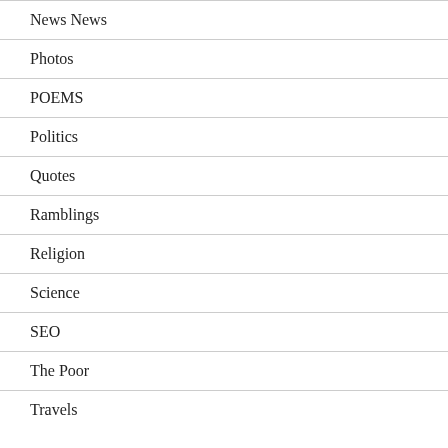News News
Photos
POEMS
Politics
Quotes
Ramblings
Religion
Science
SEO
The Poor
Travels